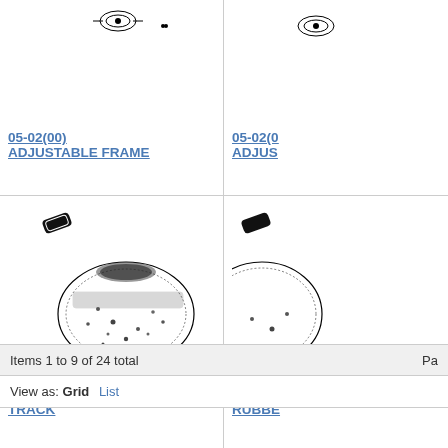[Figure (engineering-diagram): Technical diagram of adjustable frame part 05-02(00), partially visible at top]
05-02(00) ADJUSTABLE FRAME
[Figure (engineering-diagram): Partially visible technical diagram of adjustable frame part (right column)]
05-02(0… ADJUS…
[Figure (engineering-diagram): Technical diagram of shoe track part 05-03(00) showing rubber track shoe components]
05-03(00) SHOE, TRACK
[Figure (engineering-diagram): Partially visible technical diagram of rubber shoe track part (right column)]
05-03(0… RUBBE…
Items 1 to 9 of 24 total
Pa…
View as: Grid  List